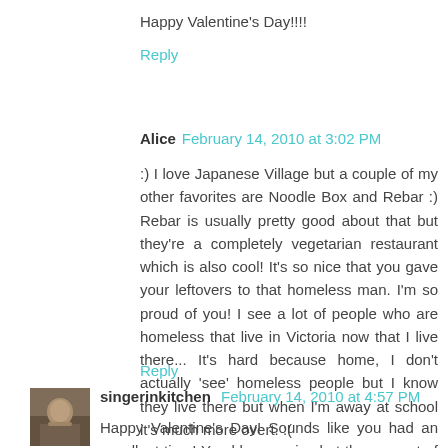Happy Valentine's Day!!!!
Reply
Alice  February 14, 2010 at 3:02 PM
:) I love Japanese Village but a couple of my other favorites are Noodle Box and Rebar :) Rebar is usually pretty good about that but they're a completely vegetarian restaurant which is also cool! It's so nice that you gave your leftovers to that homeless man. I'm so proud of you! I see a lot of people who are homeless that live in Victoria now that I live there... It's hard because home, I don't actually 'see' homeless people but I know they live there but when I'm away at school it's much more overt. :(
Reply
singerinkitchen  February 14, 2010 at 4:57 PM
Happy Valentine's Day! Sounds like you had an excellent time! Youd be surprised at the amount of fat these